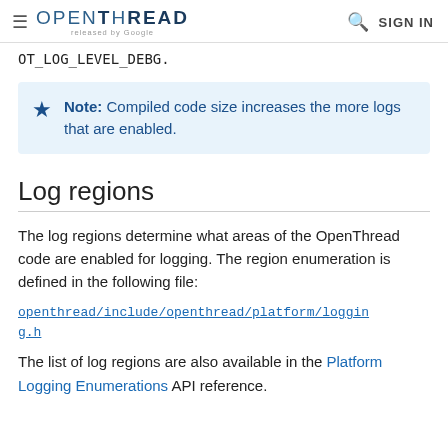≡ OPENTHREAD released by Google  🔍 SIGN IN
OT_LOG_LEVEL_DEBG.
Note: Compiled code size increases the more logs that are enabled.
Log regions
The log regions determine what areas of the OpenThread code are enabled for logging. The region enumeration is defined in the following file:
openthread/include/openthread/platform/logging.h
The list of log regions are also available in the Platform Logging Enumerations API reference.